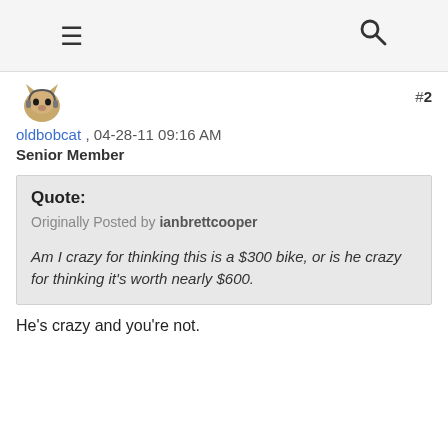≡  🔍
[Figure (illustration): Small avatar icon of a bobcat/cat figure]
oldbobcat , 04-28-11 09:16 AM
Senior Member
#2
Quote:
Originally Posted by ianbrettcooper
Am I crazy for thinking this is a $300 bike, or is he crazy for thinking it's worth nearly $600.
He's crazy and you're not.